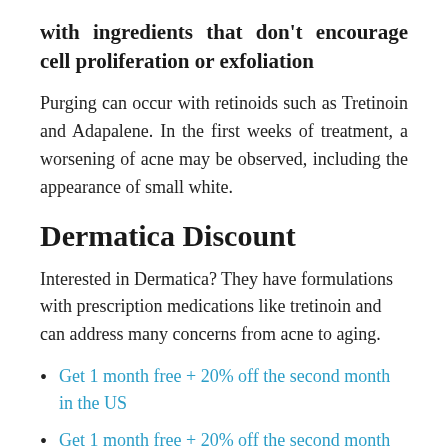with ingredients that don't encourage cell proliferation or exfoliation
Purging can occur with retinoids such as Tretinoin and Adapalene. In the first weeks of treatment, a worsening of acne may be observed, including the appearance of small white.
Dermatica Discount
Interested in Dermatica? They have formulations with prescription medications like tretinoin and can address many concerns from acne to aging.
Get 1 month free + 20% off the second month in the US
Get 1 month free + 20% off the second month in